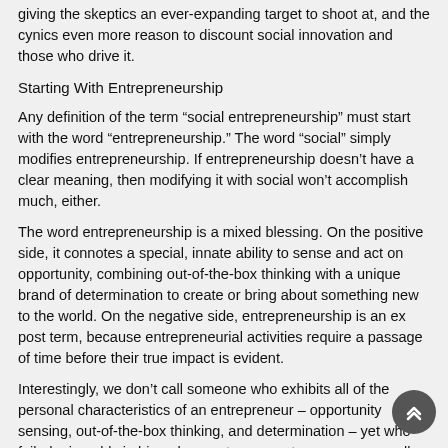giving the skeptics an ever-expanding target to shoot at, and the cynics even more reason to discount social innovation and those who drive it.
Starting With Entrepreneurship
Any definition of the term “social entrepreneurship” must start with the word “entrepreneurship.” The word “social” simply modifies entrepreneurship. If entrepreneurship doesn’t have a clear meaning, then modifying it with social won’t accomplish much, either.
The word entrepreneurship is a mixed blessing. On the positive side, it connotes a special, innate ability to sense and act on opportunity, combining out-of-the-box thinking with a unique brand of determination to create or bring about something new to the world. On the negative side, entrepreneurship is an ex post term, because entrepreneurial activities require a passage of time before their true impact is evident.
Interestingly, we don’t call someone who exhibits all of the personal characteristics of an entrepreneur – opportunity sensing, out-of-the-box thinking, and determination – yet who failed miserably in his or her venture an entrepreneur; we call him or her a business failure. Even someone like Bob Young, of Red Hat Software fame, is called a “serial entrepreneur” only after his first success; i.e., all of his prior failures are dubbed